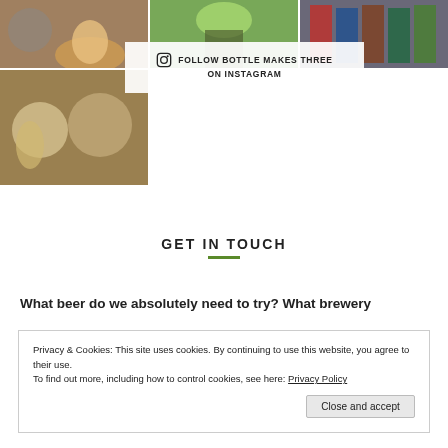[Figure (photo): Grid of Instagram photos showing people drinking beer and beverages at bars and breweries]
FOLLOW BOTTLE MAKES THREE ON INSTAGRAM
GET IN TOUCH
What beer do we absolutely need to try? What brewery
Privacy & Cookies: This site uses cookies. By continuing to use this website, you agree to their use.
To find out more, including how to control cookies, see here: Privacy Policy
Close and accept